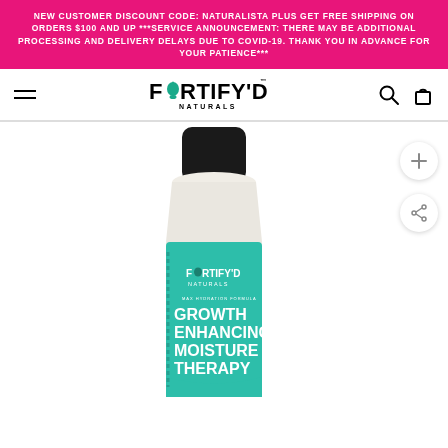NEW CUSTOMER DISCOUNT CODE: NATURALISTA PLUS GET FREE SHIPPING ON ORDERS $100 AND UP ***SERVICE ANNOUNCEMENT: THERE MAY BE ADDITIONAL PROCESSING AND DELIVERY DELAYS DUE TO COVID-19. THANK YOU IN ADVANCE FOR YOUR PATIENCE***
[Figure (logo): FORTIFY'D NATURALS logo with teal water drop replacing the O in FORTIFY'D]
[Figure (photo): FORTIFY'D NATURALS Growth Enhancing Moisture Therapy product bottle with teal label and black cap, showing partial label text]